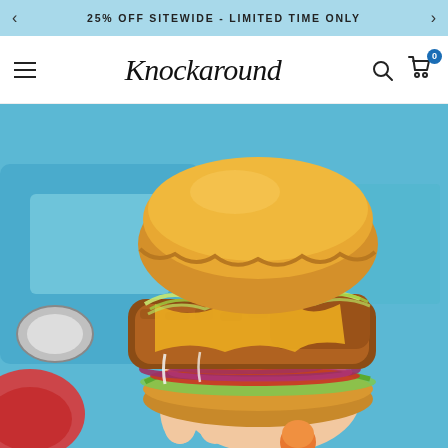25% OFF SITEWIDE - LIMITED TIME ONLY
Knockaround
[Figure (photo): A hand holding a large fried chicken sandwich with melted cheese, shredded lettuce, red onion rings, tomato, pickles, and sauce on a brioche bun, held in front of a blue vehicle background.]